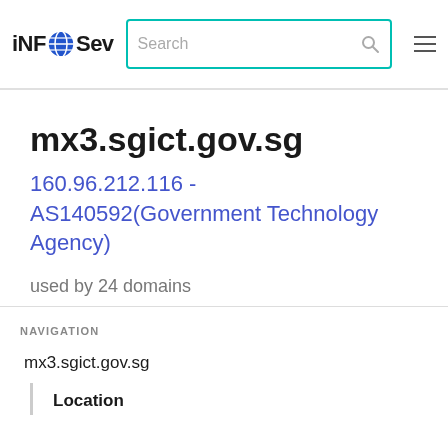iNFOSev [logo] Search [search icon] [hamburger menu]
mx3.sgict.gov.sg
160.96.212.116 - AS140592(Government Technology Agency)
used by 24 domains
NAVIGATION
mx3.sgict.gov.sg
Location